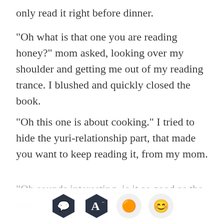only read it right before dinner.
“Oh what is that one you are reading honey?” mom asked, looking over my shoulder and getting me out of my reading trance. I blushed and quickly closed the book.
“Oh this one is about cooking.” I tried to hide the yuri-relationship part, that made you want to keep reading it, from my mom.
“Oh sounds interesting, is it as good as the one
[Figure (screenshot): App toolbar with four icons: dark hexagonal comment bubble, dark hexagonal letter A with minus superscript, orange book icon on light circle, and golden smiley face emoji on light circle.]